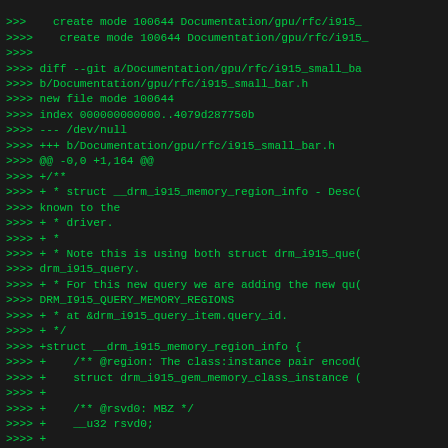>>>>    create mode 100644 Documentation/gpu/rfc/i915_
>>>>    create mode 100644 Documentation/gpu/rfc/i915_
>>>>
>>>> diff --git a/Documentation/gpu/rfc/i915_small_ba
>>>> b/Documentation/gpu/rfc/i915_small_bar.h
>>>> new file mode 100644
>>>> index 000000000000..4079d287750b
>>>> --- /dev/null
>>>> +++ b/Documentation/gpu/rfc/i915_small_bar.h
>>>> @@ -0,0 +1,164 @@
>>>> +/**
>>>> + * struct __drm_i915_memory_region_info - Desc(
>>>> known to the
>>>> + * driver.
>>>> + *
>>>> + * Note this is using both struct drm_i915_que(
>>>> drm_i915_query.
>>>> + * For this new query we are adding the new qu(
>>>> DRM_I915_QUERY_MEMORY_REGIONS
>>>> + * at &drm_i915_query_item.query_id.
>>>> + */
>>>> +struct __drm_i915_memory_region_info {
>>>> +    /** @region: The class:instance pair encod(
>>>> +    struct drm_i915_gem_memory_class_instance (
>>>> +
>>>> +    /** @rsvd0: MBZ */
>>>> +    __u32 rsvd0;
>>>> +
>>>> +    /** @probed_size: Memory probed by the dri(
>>>> +    __u64 probed_size;
>>>>
>>> Is -1 possible today or when it will be? For syst